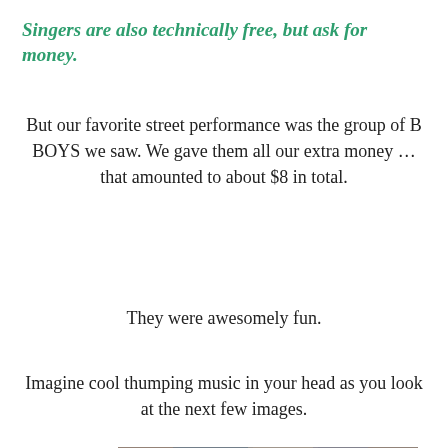Singers are also technically free, but ask for money.
But our favorite street performance was the group of B BOYS we saw. We gave them all our extra money … that amounted to about $8 in total.
They were awesomely fun.
Imagine cool thumping music in your head as you look at the next few images.
[Figure (photo): A crowd of people watching street performers, shown in a horizontal strip photo.]
Privacy & Cookies: This site uses cookies. By continuing to use this website, you agree to their use.
To find out more, including how to control cookies, see here: Cookie Policy